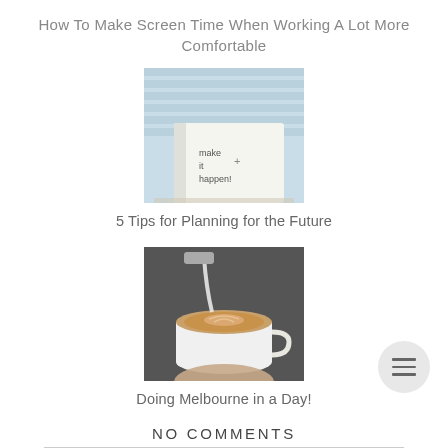How To Make Screen Time When Working A Lot More Comfortable
[Figure (photo): A notebook with handwritten text 'make it happen' on a desk near window blinds]
5 Tips for Planning for the Future
[Figure (photo): A hand pouring milk into a latte art coffee cup]
Doing Melbourne in a Day!
NO COMMENTS